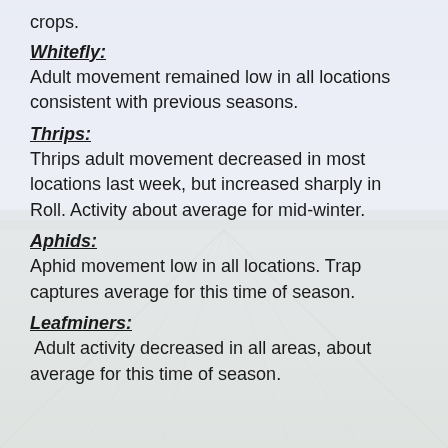crops.
Whitefly:
Adult movement remained low in all locations consistent with previous seasons.
Thrips:
Thrips adult movement decreased in most locations last week, but increased sharply in Roll. Activity about average for mid-winter.
Aphids:
Aphid movement low in all locations. Trap captures average for this time of season.
Leafminers:
Adult activity decreased in all areas, about average for this time of season.